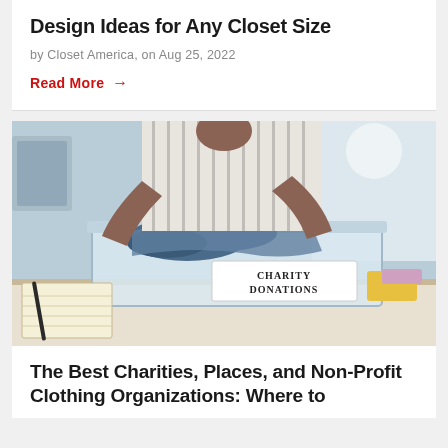Design Ideas for Any Closet Size
by Closet America, on Aug 25, 2022
Read More →
[Figure (photo): A woman placing folded clothing into a clear plastic bin labeled 'CHARITY DONATIONS' on a table, with a notebook and pen visible in the foreground.]
The Best Charities, Places, and Non-Profit Clothing Organizations: Where to